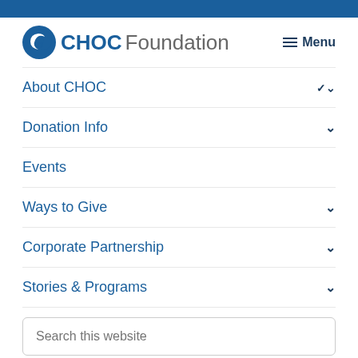[Figure (logo): CHOC Foundation logo with moon/child icon in blue circle]
Menu
About CHOC
Donation Info
Events
Ways to Give
Corporate Partnership
Stories & Programs
Search this website
Donate